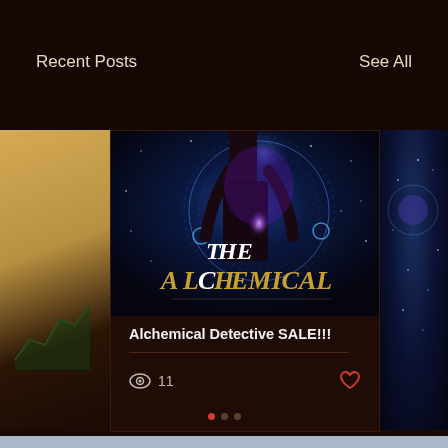Recent Posts
See All
[Figure (photo): Book cover for 'The Alchemical Detective' showing a woman in a dark outfit standing in front of a glowing cosmic/magical circular background with stars and light effects. Gold and white text reads 'THE ALCHEMICAL' across the bottom portion of the image.]
Alchemical Detective SALE!!!
11